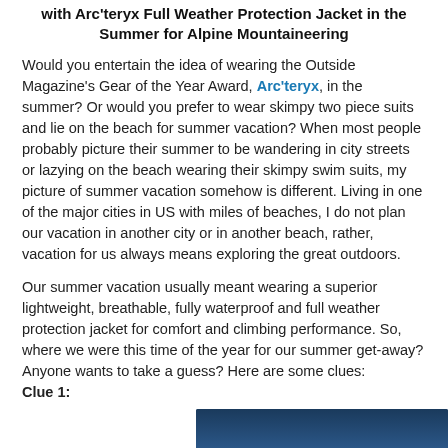with Arc'teryx Full Weather Protection Jacket in the Summer for Alpine Mountaineering
Would you entertain the idea of wearing the Outside Magazine's Gear of the Year Award, Arc'teryx, in the summer? Or would you prefer to wear skimpy two piece suits and lie on the beach for summer vacation? When most people probably picture their summer to be wandering in city streets or lazying on the beach wearing their skimpy swim suits, my picture of summer vacation somehow is different. Living in one of the major cities in US with miles of beaches, I do not plan our vacation in another city or in another beach, rather, vacation for us always means exploring the great outdoors.
Our summer vacation usually meant wearing a superior lightweight, breathable, fully waterproof and full weather protection jacket for comfort and climbing performance. So, where we were this time of the year for our summer get-away? Anyone wants to take a guess? Here are some clues: Clue 1:
[Figure (photo): Partial photo showing a dark blue/navy background with what appears to be the top of a person's head, partially visible at the bottom of the image.]